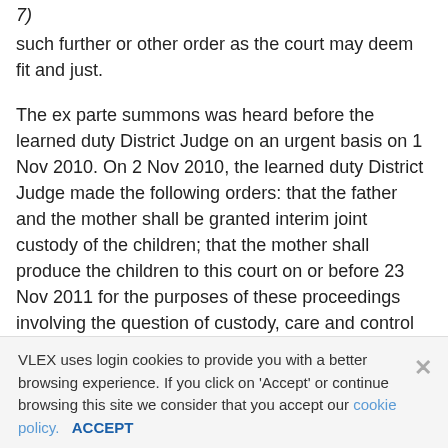7)
such further or other order as the court may deem fit and just.
The ex parte summons was heard before the learned duty District Judge on an urgent basis on 1 Nov 2010. On 2 Nov 2010, the learned duty District Judge made the following orders: that the father and the mother shall be granted interim joint custody of the children; that the mother shall produce the children to this court on or before 23 Nov 2011 for the purposes of these proceedings involving the question of custody, care and control of and access to the children; that the return date for this summons 18409/2010/D was fixed to be heard on 23 Nov 2010. that upon the production of the children in this court, the mother shall surrender all passports and/or travel documents of the children to the father's solicitors who will hold them until further
VLEX uses login cookies to provide you with a better browsing experience. If you click on 'Accept' or continue browsing this site we consider that you accept our cookie policy. ACCEPT